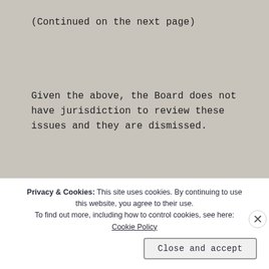(Continued on the next page)
Given the above, the Board does not have jurisdiction to review these issues and they are dismissed.
Evan M. Deichert
Privacy & Cookies: This site uses cookies. By continuing to use this website, you agree to their use.
To find out more, including how to control cookies, see here:
Cookie Policy
Close and accept